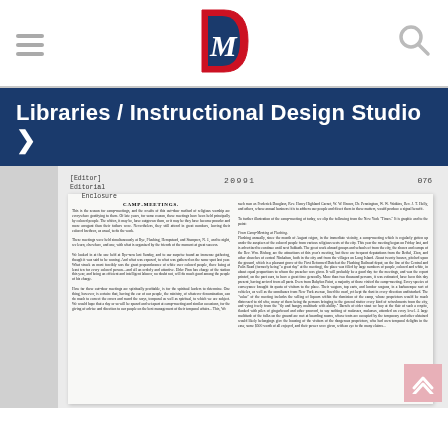Libraries / Instructional Design Studio
[Figure (screenshot): Scanned newspaper clipping with header labels [Editor] Editorial Enclosure, document number 20991, page 076. Contains article titled CAMP-MEETINGS in two columns of small text.]
CAMP-MEETINGS newspaper article text in two columns